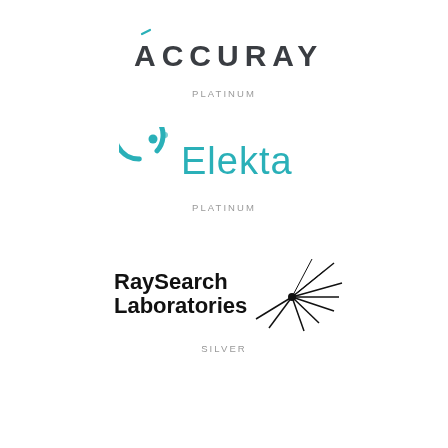[Figure (logo): Accuray company logo in dark teal/charcoal text with a small teal accent mark above the A]
PLATINUM
[Figure (logo): Elekta company logo with circular teal arc icon and teal text 'Elekta']
PLATINUM
[Figure (logo): RaySearch Laboratories logo with bold black text and starburst/asterisk graphic]
SILVER